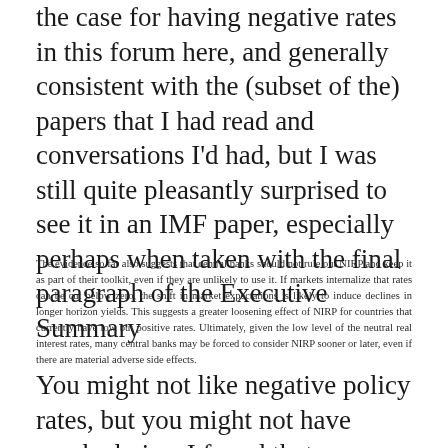the case for having negative rates in this forum here, and generally consistent with the (subset of the) papers that I had read and conversations I'd had, but I was still quite pleasantly surprised to see it in an IMF paper, especially perhaps when taken with the final paragraph of the Executive Summary
The evidence so far also suggests that central banks should not rule out NIRP and keep it as part of their toolkit, even if they are unlikely to use it. If markets internalize that rates can be cut below zero, the shift in market expectations is likely to induce declines in longer horizon yields. This suggests a greater loosening effect of NIRP for countries that currently have low but positive rates. Ultimately, given the low level of the neutral real interest rates, many central banks may be forced to consider NIRP sooner or later, even if there are material adverse side effects.
You might not like negative policy rates, but you might not have much choice. I found that conclusion particularly interesting because the authors are more confident than I am that